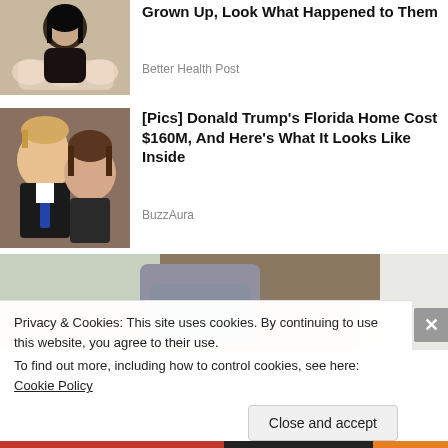[Figure (photo): Woman holding multiple babies]
Grown Up, Look What Happened to Them
Better Health Post
[Figure (photo): Donald Trump and Melania Trump]
[Pics] Donald Trump's Florida Home Cost $160M, And Here's What It Looks Like Inside
BuzzAura
[Figure (photo): Person leaning over couch in room]
Privacy & Cookies: This site uses cookies. By continuing to use this website, you agree to their use.
To find out more, including how to control cookies, see here: Cookie Policy
Close and accept